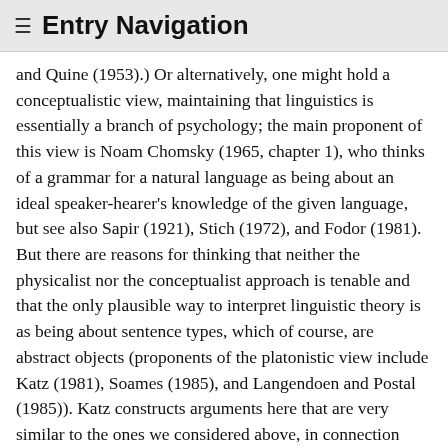≡ Entry Navigation
and Quine (1953).) Or alternatively, one might hold a conceptualistic view, maintaining that linguistics is essentially a branch of psychology; the main proponent of this view is Noam Chomsky (1965, chapter 1), who thinks of a grammar for a natural language as being about an ideal speaker-hearer's knowledge of the given language, but see also Sapir (1921), Stich (1972), and Fodor (1981). But there are reasons for thinking that neither the physicalist nor the conceptualist approach is tenable and that the only plausible way to interpret linguistic theory is as being about sentence types, which of course, are abstract objects (proponents of the platonistic view include Katz (1981), Soames (1985), and Langendoen and Postal (1985)). Katz constructs arguments here that are very similar to the ones we considered above, in connection with mathematical objects (section 4.1). One argument here is that linguistic theory seems to have consequences that are (a) true and (b) about sentences that have never been tokened (internally or externally), e.g., sentences like 'Green Elvises slithered unwittingly toward